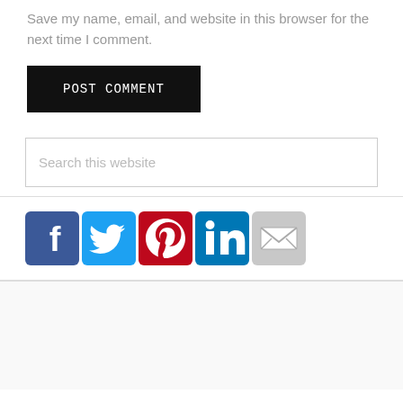Save my name, email, and website in this browser for the next time I comment.
POST COMMENT
Search this website
[Figure (infographic): Row of social media icons: Facebook (blue), Twitter (light blue), Pinterest (red), LinkedIn (blue), Email (grey)]